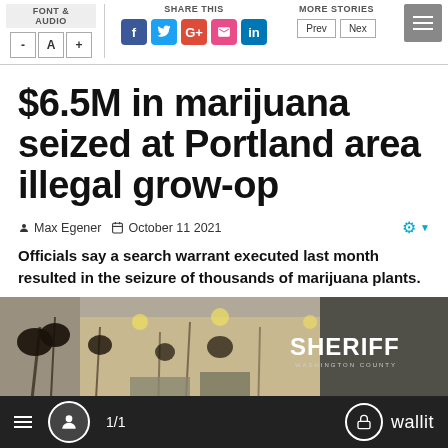FONT & AUDIO | SHARE THIS | MORE STORIES
$6.5M in marijuana seized at Portland area illegal grow-op
Max Egener   October 11 2021
Officials say a search warrant executed last month resulted in the seizure of thousands of marijuana plants.
[Figure (photo): Interior of an illegal marijuana grow operation with plants and equipment, with a Washington County Sheriff badge/logo visible on the right side]
1/1   wallit